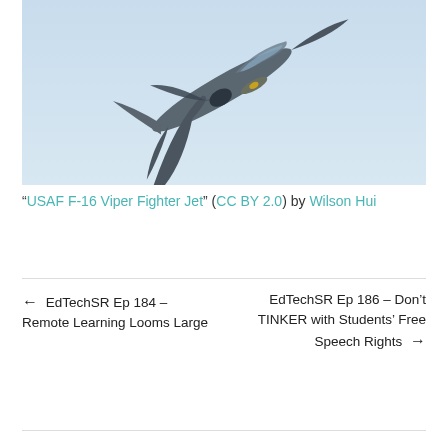[Figure (photo): Aerial photograph of a USAF F-16 Viper Fighter Jet flying against a light blue sky, viewed from slightly above and behind.]
"USAF F-16 Viper Fighter Jet" (CC BY 2.0) by Wilson Hui
← EdTechSR Ep 184 – Remote Learning Looms Large
EdTechSR Ep 186 – Don't TINKER with Students' Free Speech Rights →